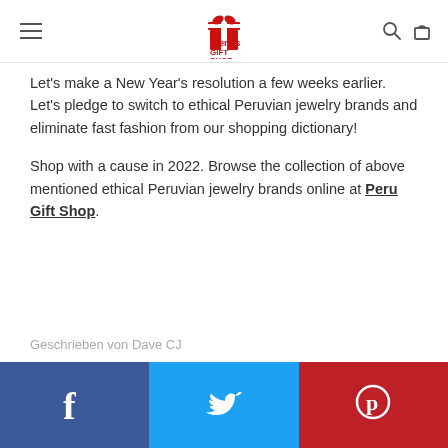Peru Gift Shop — navigation header with logo
Let's make a New Year's resolution a few weeks earlier. Let's pledge to switch to ethical Peruvian jewelry brands and eliminate fast fashion from our shopping dictionary!
Shop with a cause in 2022. Browse the collection of above mentioned ethical Peruvian jewelry brands online at Peru Gift Shop.
Geschrieben von Dave CJ
[Figure (infographic): Social media sharing bar with Facebook (blue), Twitter (light blue), and Pinterest (red) icons]